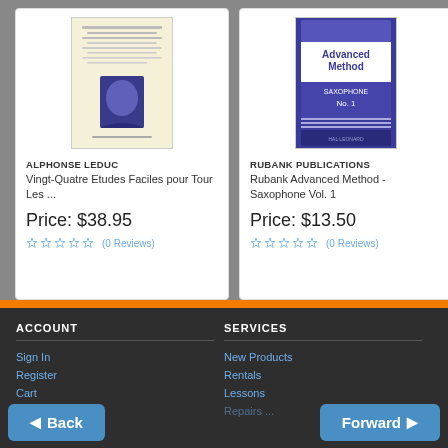[Figure (photo): Book cover for Vingt-Quatre Etudes Faciles pour Tour Les by Alphonse Leduc, cream/beige background with text and portrait illustration]
ALPHONSE LEDUC
Vingt-Quatre Etudes Faciles pour Tour Les ...
Price: $38.95
(0 Reviews)
[Figure (photo): Book cover for Rubank Advanced Method - Saxophone Vol. 1, dark blue/purple background with white text]
RUBANK PUBLICATIONS
Rubank Advanced Method - Saxophone Vol. 1
Price: $13.50
(0 Reviews)
ACCOUNT
Sign In
Register
Cart
SERVICES
New Products
Rentals
Lessons
Back | Forward